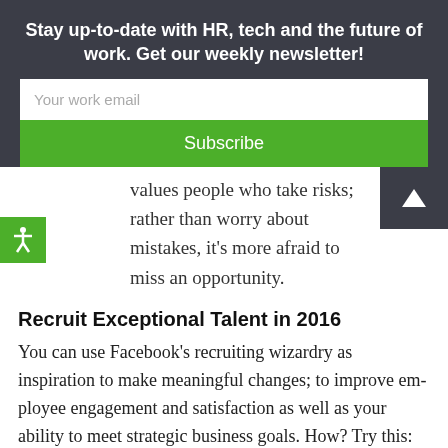Stay up-to-date with HR, tech and the future of work. Get our weekly newsletter!
Your work email
Subscribe
values people who take risks; rather than worry about mistakes, it's more afraid to miss an opportunity.
Recruit Exceptional Talent in 2016
You can use Facebook's recruiting wizardry as inspiration to make meaningful changes; to improve em-ployee engagement and satisfaction as well as your ability to meet strategic business goals. How? Try this:
1. Think of recruitment as akin to product marketing. Smashfly, a recruitment marketing platform